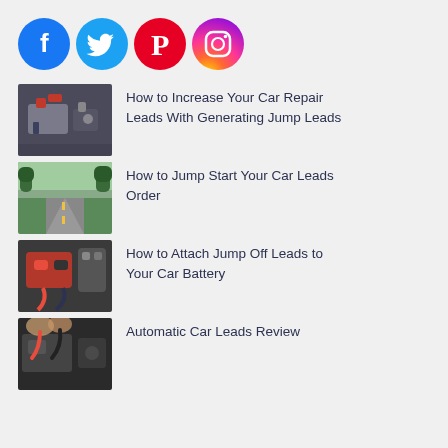[Figure (logo): Social media icons: Facebook (blue circle with F), Twitter (blue circle with bird), Pinterest (red circle with P), Instagram (gradient circle with camera)]
How to Increase Your Car Repair Leads With Generating Jump Leads
How to Jump Start Your Car Leads Order
How to Attach Jump Off Leads to Your Car Battery
Automatic Car Leads Review